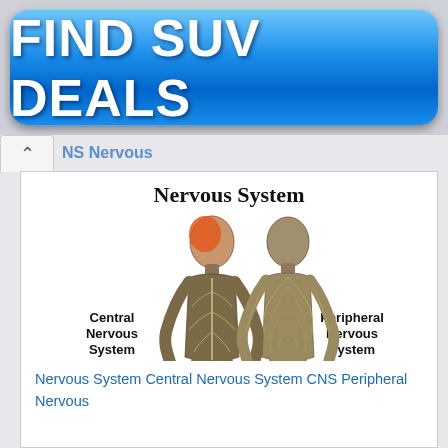[Figure (infographic): Blue button-style advertisement banner reading FIND SUV DEALS in bold white text on a gradient blue rounded rectangle background.]
NS Nervous
[Figure (illustration): Medical illustration of the Nervous System showing two human body figures from the back. The left figure has an orange/red highlighted head and shows the Central Nervous System (CNS) with visible spine and brain. The right figure shows the Peripheral Nervous System (PNS) with visible nerve networks throughout the body. Labels: Central Nervous System (CNS) on the left, Peripheral Nervous System (PNS) on the right. Title: Nervous System.]
Nervous System Central Nervous System CNS Peripheral Nervous